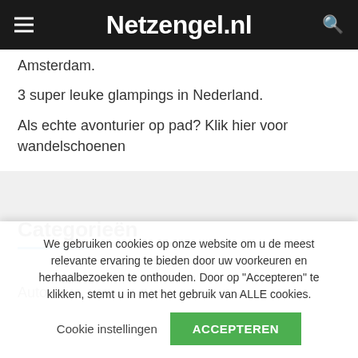Netzengel.nl
Amsterdam.
3 super leuke glampings in Nederland.
Als echte avonturier op pad? Klik hier voor wandelschoenen
Categorieën
Auto
We gebruiken cookies op onze website om u de meest relevante ervaring te bieden door uw voorkeuren en herhaalbezoeken te onthouden. Door op "Accepteren" te klikken, stemt u in met het gebruik van ALLE cookies.